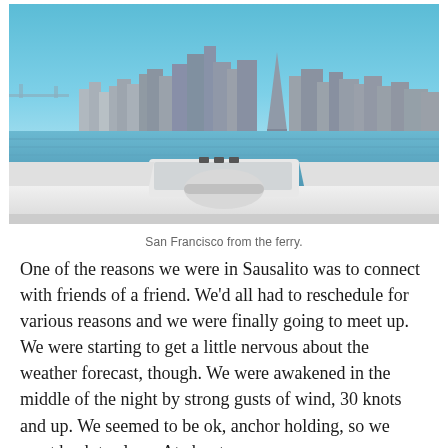[Figure (photo): View of San Francisco city skyline across the bay, taken from a ferry boat. The foreground shows the white bow of the ferry, with the skyline including tall skyscrapers and the Transamerica Pyramid visible in the background under a clear blue sky.]
San Francisco from the ferry.
One of the reasons we were in Sausalito was to connect with friends of a friend. We'd all had to reschedule for various reasons and we were finally going to meet up. We were starting to get a little nervous about the weather forecast, though. We were awakened in the middle of the night by strong gusts of wind, 30 knots and up. We seemed to be ok, anchor holding, so we went back to sleep. At about